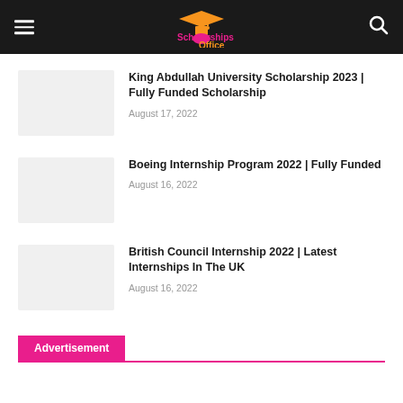Scholarships Office
King Abdullah University Scholarship 2023 | Fully Funded Scholarship
August 17, 2022
Boeing Internship Program 2022 | Fully Funded
August 16, 2022
British Council Internship 2022 | Latest Internships In The UK
August 16, 2022
Advertisement